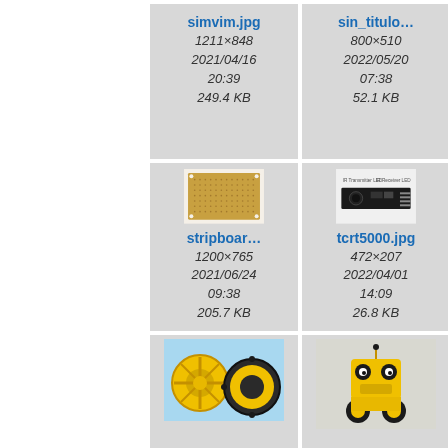[Figure (screenshot): File browser grid view showing image thumbnails with filenames, dimensions, dates, and file sizes. Row 1: simvim.jpg (1211x848, 2021/04/16 20:39, 249.4 KB), sin_titulo... (800x510, 2022/05/20 07:38, 52.1 KB), partial third cell. Row 2: stripboar... thumbnail (stripboard PCB image, 1200x765, 2021/06/24 09:38, 205.7 KB), tcrt5000.jpg (472x207, 2022/04/01 14:09, 26.8 KB), partial third cell. Row 3: wheel thumbnail, robot thumbnail.]